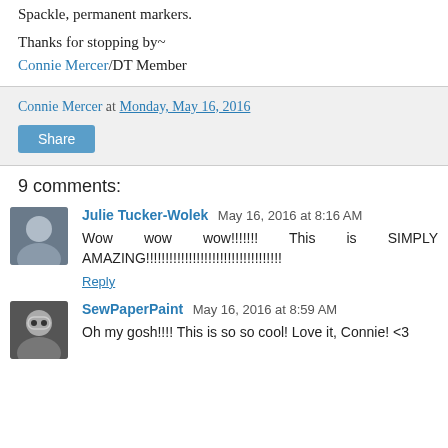Spackle, permanent markers.
Thanks for stopping by~
Connie Mercer/DT Member
Connie Mercer at Monday, May 16, 2016
Share
9 comments:
Julie Tucker-Wolek May 16, 2016 at 8:16 AM
Wow wow wow!!!!!!! This is SIMPLY AMAZING!!!!!!!!!!!!!!!!!!!!!!!!!!!!!!!!!!!
Reply
SewPaperPaint May 16, 2016 at 8:59 AM
Oh my gosh!!!! This is so so cool! Love it, Connie! <3